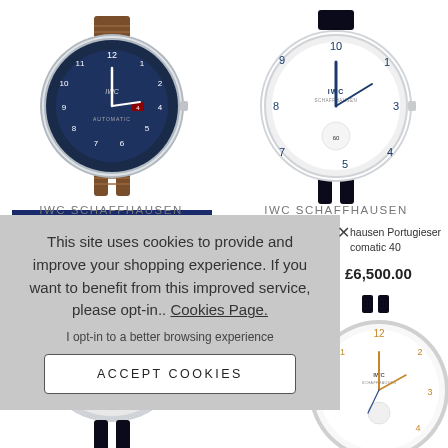[Figure (photo): IWC watch with blue dial and brown leather strap on left column, top]
Limited Edition
IWC SCHAFFHAUSEN
[Figure (photo): IWC Portugieser watch with white dial and black strap on right column, top]
IWC SCHAFFHAUSEN
hausen Portugieser
comatic 40
£6,500.00
This site uses cookies to provide and improve your shopping experience. If you want to benefit from this improved service, please opt-in.. Cookies Page.
I opt-in to a better browsing experience
ACCEPT COOKIES
[Figure (photo): IWC watch partial view bottom right]
[Figure (photo): IWC watch partial view bottom left]